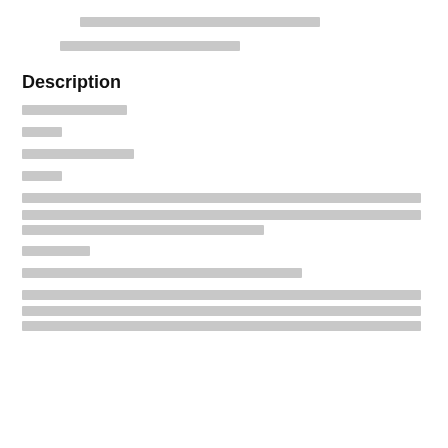[redacted header line 1]
[redacted header line 2]
Description
[redacted short line 1]
[redacted short line 2]
[redacted short line 3]
[redacted short line 4]
[redacted paragraph 1 - three lines]
[redacted medium line]
[redacted medium line 2]
[redacted paragraph 2 - three lines]